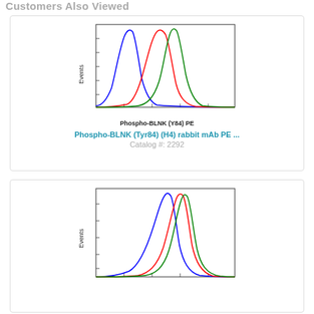Customers Also Viewed
[Figure (continuous-plot): Flow cytometry histogram showing three overlapping bell-curve distributions (blue, red, green) for Phospho-BLNK (Y84) PE. Y-axis labeled Events, X-axis labeled Phospho-BLNK (Y84) PE.]
Phospho-BLNK (Y84) PE
Phospho-BLNK (Tyr84) (H4) rabbit mAb PE ...
Catalog #: 2292
[Figure (continuous-plot): Flow cytometry histogram showing three overlapping bell-curve distributions (blue, red, green). Y-axis labeled Events.]